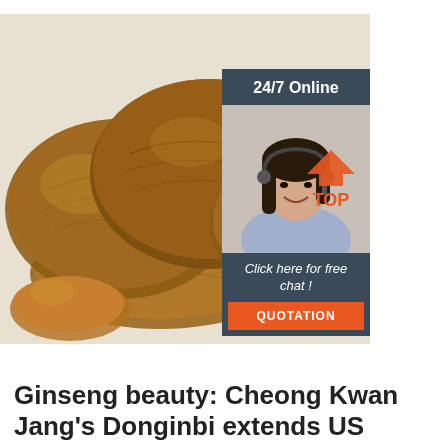[Figure (photo): Close-up photo of dried ginseng slices (flat, roundish, brown/golden colored) on a white surface, with a 24/7 online chat widget overlay in the upper right showing a female customer service agent with headset, text 'Click here for free chat!', and an orange QUOTATION button. A red/orange TOP button with triangle icon appears at bottom right of the image.]
Ginseng beauty: Cheong Kwan Jang's Donginbi extends US